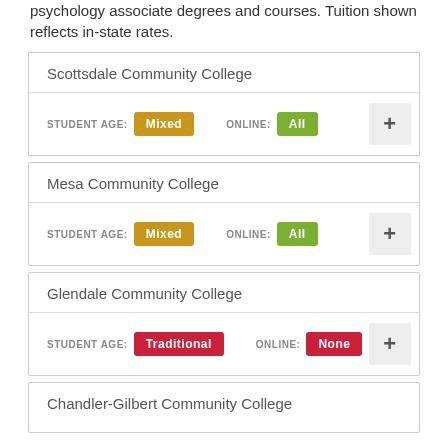psychology associate degrees and courses. Tuition shown reflects in-state rates.
Scottsdale Community College | STUDENT AGE: Mixed | ONLINE: All
Mesa Community College | STUDENT AGE: Mixed | ONLINE: All
Glendale Community College | STUDENT AGE: Traditional | ONLINE: None
Chandler-Gilbert Community College